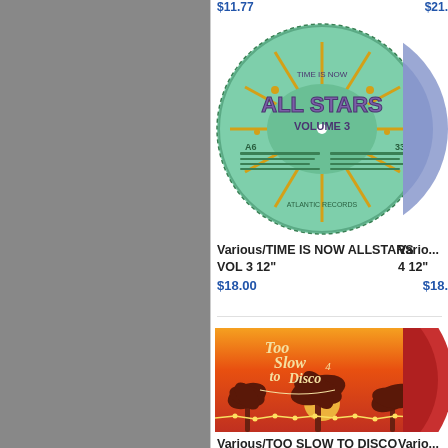$11.77
$21...
[Figure (photo): Green oval vinyl record label for 'Time Is Now All Stars Volume 3', with purple decorative text and golden radiating lines, showing track listing and 33 RPM marking]
Various/TIME IS NOW ALLSTARS VOL 3 12"
$18.00
Vario... 4 12"
$18.0...
[Figure (photo): Album cover for 'Too Slow to Disco Vol. 4' showing a sunset scene with palm trees silhouetted against an orange-red sky with string lights]
Various/TOO SLOW TO DISCO VOL. 4 DLP
Vario... 12"